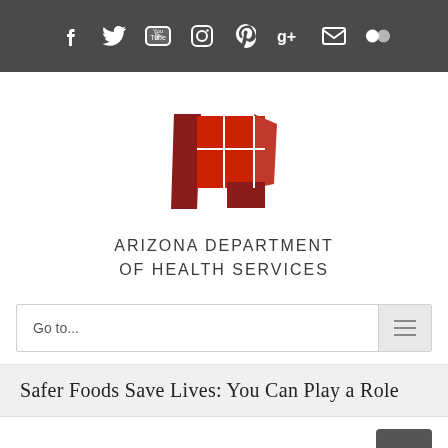Social media icons: Facebook, Twitter, YouTube, Instagram, Pinterest, Google+, Email, Flickr
[Figure (logo): Arizona Department of Health Services logo — geometric red and dark red interlocking rectangular shapes forming an abstract design]
ARIZONA DEPARTMENT OF HEALTH SERVICES
Go to...
Safer Foods Save Lives: You Can Play a Role
< Previous   Next >